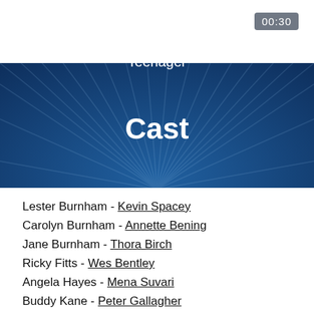00:30
Janie's A Pretty Typical Teenager
Cast
Lester Burnham - Kevin Spacey
Carolyn Burnham - Annette Bening
Jane Burnham - Thora Birch
Ricky Fitts - Wes Bentley
Angela Hayes - Mena Suvari
Buddy Kane - Peter Gallagher
Barbara Fitts - Allison Janney
Colonel Fitts - Chris Cooper